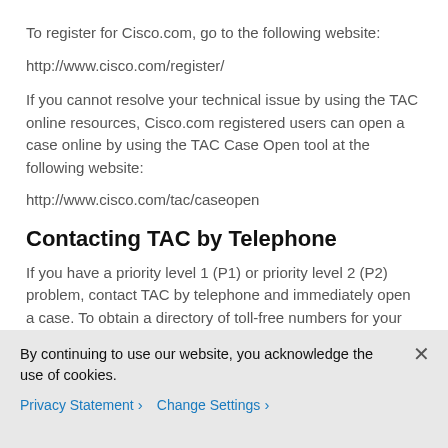To register for Cisco.com, go to the following website:
http://www.cisco.com/register/
If you cannot resolve your technical issue by using the TAC online resources, Cisco.com registered users can open a case online by using the TAC Case Open tool at the following website:
http://www.cisco.com/tac/caseopen
Contacting TAC by Telephone
If you have a priority level 1 (P1) or priority level 2 (P2) problem, contact TAC by telephone and immediately open a case. To obtain a directory of toll-free numbers for your country, go to the following website:
By continuing to use our website, you acknowledge the use of cookies.
Privacy Statement > Change Settings >